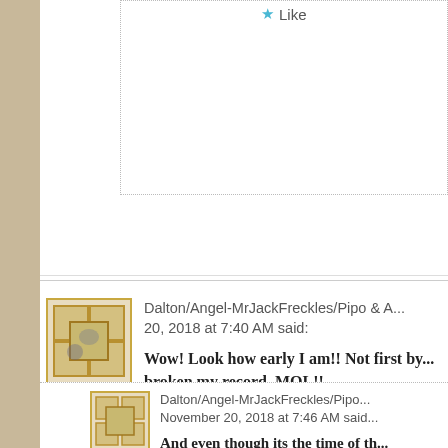Like
Dalton/Angel-MrJackFreckles/Pipo & A... November 20, 2018 at 7:40 AM said:
Wow! Look how early I am!! Not first by... broken my record, MOL!!
Like
Dalton/Angel-MrJackFreckles/Pipo... November 20, 2018 at 7:46 AM said:
And even though its the time of th... preps for Thanksgiving...and her c... to go to her job place for a stupid...